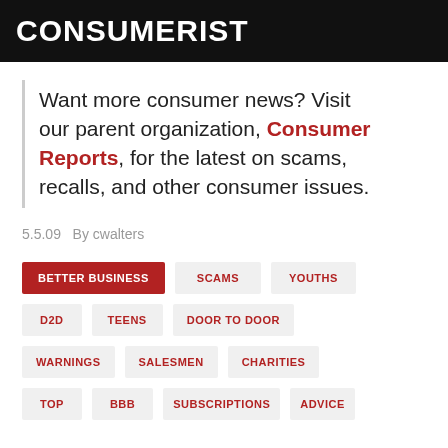CONSUMERIST
Want more consumer news? Visit our parent organization, Consumer Reports, for the latest on scams, recalls, and other consumer issues.
5.5.09   By cwalters
BETTER BUSINESS
SCAMS
YOUTHS
D2D
TEENS
DOOR TO DOOR
WARNINGS
SALESMEN
CHARITIES
TOP
BBB
SUBSCRIPTIONS
ADVICE